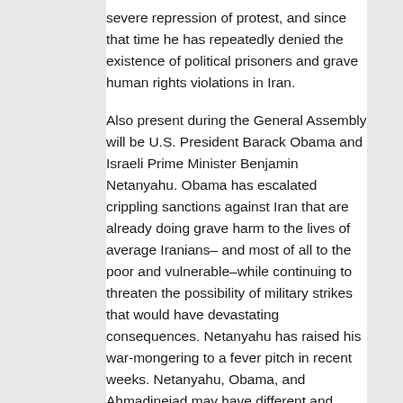severe repression of protest, and since that time he has repeatedly denied the existence of political prisoners and grave human rights violations in Iran.
Also present during the General Assembly will be U.S. President Barack Obama and Israeli Prime Minister Benjamin Netanyahu. Obama has escalated crippling sanctions against Iran that are already doing grave harm to the lives of average Iranians– and most of all to the poor and vulnerable–while continuing to threaten the possibility of military strikes that would have devastating consequences. Netanyahu has raised his war-mongering to a fever pitch in recent weeks. Netanyahu, Obama, and Ahmadinejad may have different and often conflicting agendas, but these leaders and their governments are all threats to Iranians and to peace in the region.
JOIN Havaar as we raise our voices in protest, in front of Ahmadinejad's hotel, against the crimes of his government, including the lack of accountability for the torture and killing of dissidents, and the continued unjust